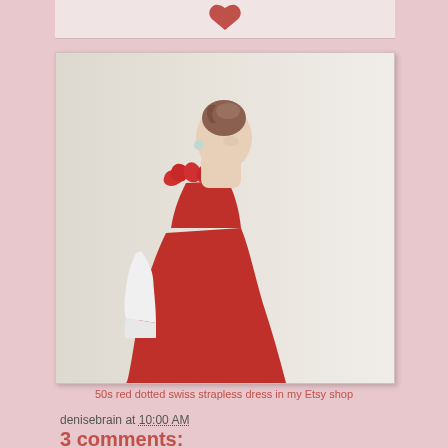[Figure (photo): Top strip of a photo partially visible at the top of the page, showing what appears to be a red heart decoration on a light background]
[Figure (photo): A woman wearing a red strapless 1950s-style ruffled dress with white gloves, posed against a light background, looking upward. The image is displayed in a polaroid-style white frame.]
50s red dotted swiss strapless dress in my Etsy shop
denisebrain at 10:00 AM
3 comments: